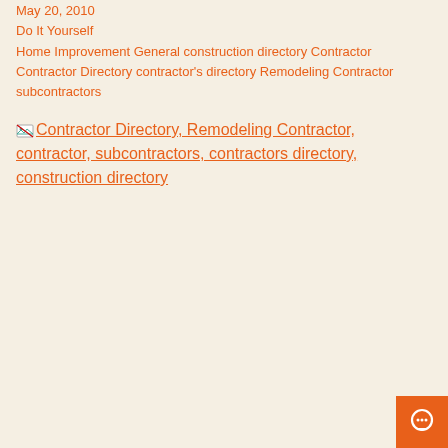May 20, 2010
Do It Yourself
Home Improvement General construction directory Contractor Contractor Directory contractor's directory Remodeling Contractor subcontractors
[Figure (other): Broken image placeholder with alt text: Contractor Directory, Remodeling Contractor, contractor, subcontractors, contractors directory, construction directory]
[Figure (other): Orange chat/message button icon in bottom-right corner]